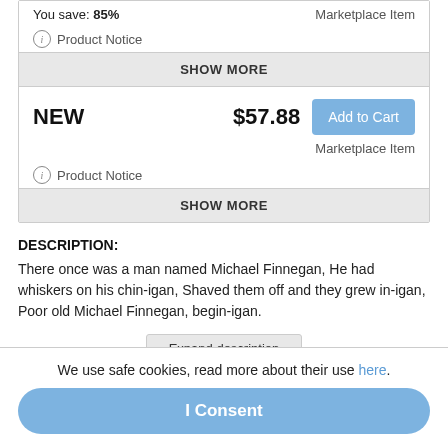You save: 85%
Marketplace Item
Product Notice
SHOW MORE
NEW
$57.88
Add to Cart
Marketplace Item
Product Notice
SHOW MORE
DESCRIPTION:
There once was a man named Michael Finnegan, He had whiskers on his chin-igan, Shaved them off and they grew in-igan, Poor old Michael Finnegan, begin-igan.
Expand description
We use safe cookies, read more about their use here.
I Consent